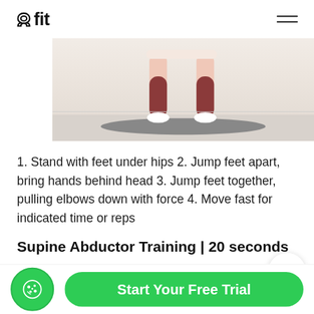[Figure (photo): Fitness app screenshot header with 8fit logo, hamburger menu, and exercise photo showing person standing with feet apart on a yoga mat]
1. Stand with feet under hips 2. Jump feet apart, bring hands behind head 3. Jump feet together, pulling elbows down with force 4. Move fast for indicated time or reps
Supine Abductor Training | 20 seconds
[Figure (photo): Partial exercise demonstration photo showing a light-colored room/studio background]
Start Your Free Trial